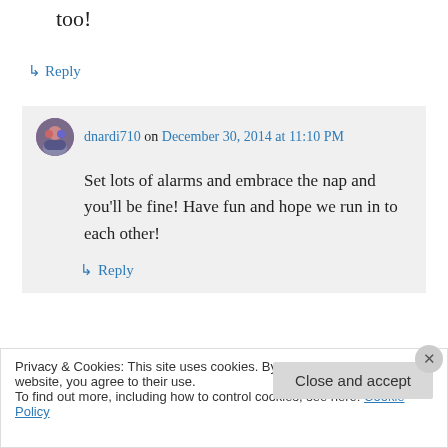too!
↳ Reply
dnardi710 on December 30, 2014 at 11:10 PM
Set lots of alarms and embrace the nap and you'll be fine! Have fun and hope we run in to each other!
↳ Reply
Privacy & Cookies: This site uses cookies. By continuing to use this website, you agree to their use.
To find out more, including how to control cookies, see here: Cookie Policy
Close and accept